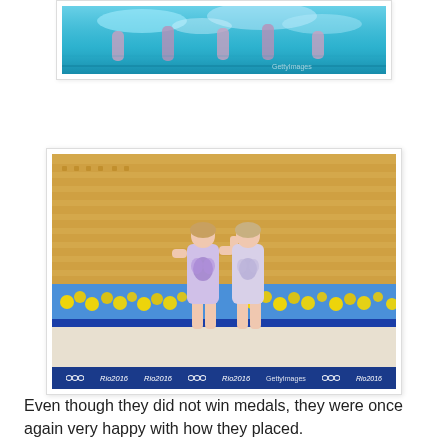[Figure (photo): Partial view of synchronised swimmers in a pool with blue water, part of a photo card with white border]
[Figure (photo): Two synchronised swimmers in decorative swimsuits standing poolside at the Rio 2016 Olympics venue with yellow flowers and stadium seating in background; Rio 2016 Olympic rings watermark bar at the bottom]
Even though they did not win medals, they were once again very happy with how they placed.
On the second to last day of the Games, I decided to photograph the team performances of synchronized swimming. I had shot this once before, albeit very briefly, in London and remember it being pretty nice for photographic